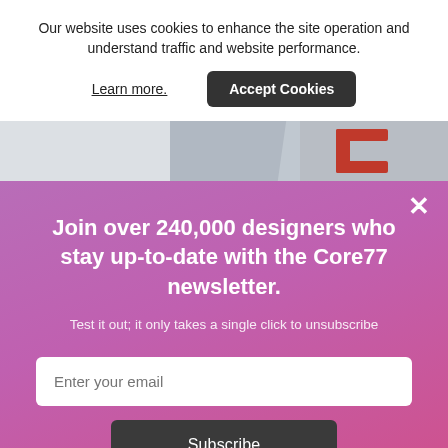Our website uses cookies to enhance the site operation and understand traffic and website performance.
Learn more.
Accept Cookies
[Figure (photo): Partial view of design objects including a blue angled shape and a red bracket-shaped component against a light background]
×
Join over 240,000 designers who stay up-to-date with the Core77 newsletter.
Test it out; it only takes a single click to unsubscribe
Enter your email
Subscribe